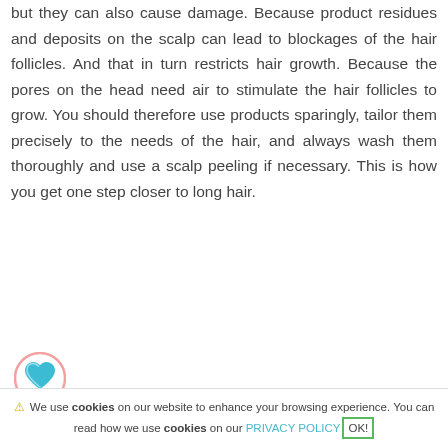but they can also cause damage. Because product residues and deposits on the scalp can lead to blockages of the hair follicles. And that in turn restricts hair growth. Because the pores on the head need air to stimulate the hair follicles to grow. You should therefore use products sparingly, tailor them precisely to the needs of the hair, and always wash them thoroughly and use a scalp peeling if necessary. This is how you get one step closer to long hair.
[Figure (illustration): Blue heart icon with pink circular border]
⚠ We use cookies on our website to enhance your browsing experience. You can read how we use cookies on our PRIVACY POLICY OK!